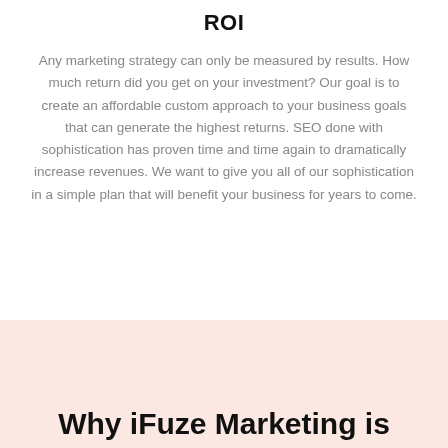ROI
Any marketing strategy can only be measured by results. How much return did you get on your investment? Our goal is to create an affordable custom approach to your business goals that can generate the highest returns. SEO done with sophistication has proven time and time again to dramatically increase revenues. We want to give you all of our sophistication in a simple plan that will benefit your business for years to come.
Why iFuze Marketing is